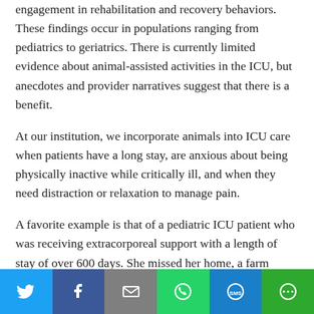engagement in rehabilitation and recovery behaviors. These findings occur in populations ranging from pediatrics to geriatrics. There is currently limited evidence about animal-assisted activities in the ICU, but anecdotes and provider narratives suggest that there is a benefit.
At our institution, we incorporate animals into ICU care when patients have a long stay, are anxious about being physically inactive while critically ill, and when they need distraction or relaxation to manage pain.
A favorite example is that of a pediatric ICU patient who was receiving extracorporeal support with a length of stay of over 600 days. She missed her home, a farm several hours from the hospital. In particular, she missed her cow, Pantene, so her family and the ICU staff worked to…
[Figure (infographic): Social sharing bar with six buttons: Twitter (blue), Facebook (dark blue), Email (gray), WhatsApp (green), SMS (blue), and More options (green)]